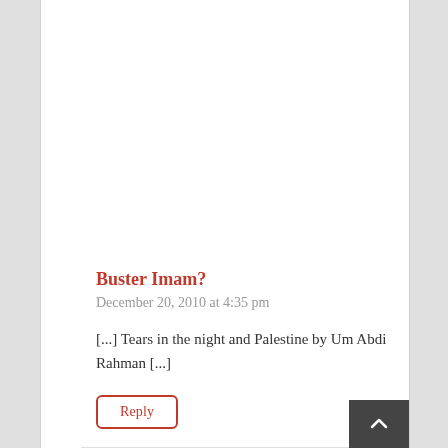Buster Imam?
December 20, 2010 at 4:35 pm
[...] Tears in the night and Palestine by Um Abdi Rahman [...]
Reply